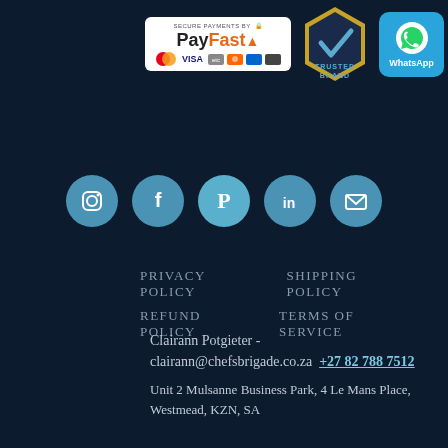[Figure (logo): PayFast secure payments badge with VISA and other card logos]
[Figure (logo): Trusted Brand hexagon badge in gold and blue]
[Figure (logo): WhatsApp icon badge in blue]
[Figure (logo): Social media icons row: Instagram, Facebook, Pinterest, LinkedIn, Email]
PRIVACY POLICY   SHIPPING POLICY
REFUND POLICY   TERMS OF SERVICE
Clairann Potgieter - clairann@chefsbrigade.co.za  +27 82 788 7512
Unit 2 Mulsanne Business Park, 4 Le Mans Place, Westmead, KZN, SA